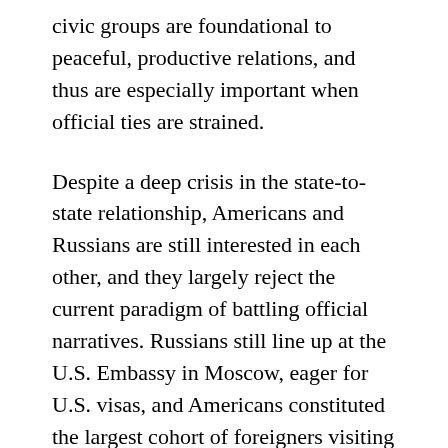civic groups are foundational to peaceful, productive relations, and thus are especially important when official ties are strained.
Despite a deep crisis in the state-to-state relationship, Americans and Russians are still interested in each other, and they largely reject the current paradigm of battling official narratives. Russians still line up at the U.S. Embassy in Moscow, eager for U.S. visas, and Americans constituted the largest cohort of foreigners visiting Russia for the World Cup this month. It is simply unfair and shortsighted to make ordinary citizens pay the price for conflict between their governments.